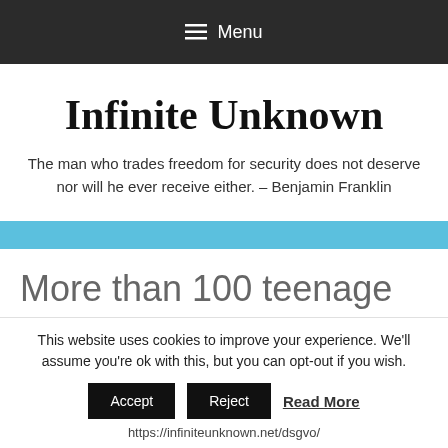≡ Menu
Infinite Unknown
The man who trades freedom for security does not deserve nor will he ever receive either. – Benjamin Franklin
More than 100 teenage girls
This website uses cookies to improve your experience. We'll assume you're ok with this, but you can opt-out if you wish. Accept Reject Read More https://infiniteunknown.net/dsgvo/